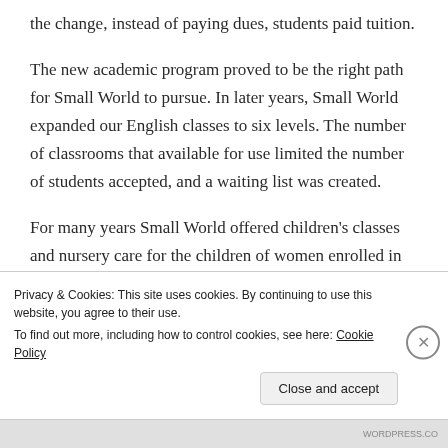the change, instead of paying dues, students paid tuition.
The new academic program proved to be the right path for Small World to pursue. In later years, Small World expanded our English classes to six levels. The number of classrooms that available for use limited the number of students accepted, and a waiting list was created.
For many years Small World offered children's classes and nursery care for the children of women enrolled in our English classes. This service was made possible because the FPC church, where Small World meets
Privacy & Cookies: This site uses cookies. By continuing to use this website, you agree to their use.
To find out more, including how to control cookies, see here: Cookie Policy
Close and accept